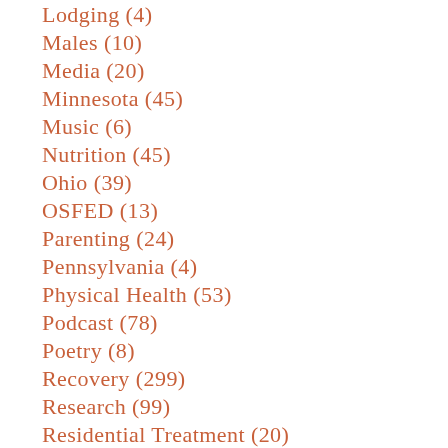Lodging (4)
Males (10)
Media (20)
Minnesota (45)
Music (6)
Nutrition (45)
Ohio (39)
OSFED (13)
Parenting (24)
Pennsylvania (4)
Physical Health (53)
Podcast (78)
Poetry (8)
Recovery (299)
Research (99)
Residential Treatment (20)